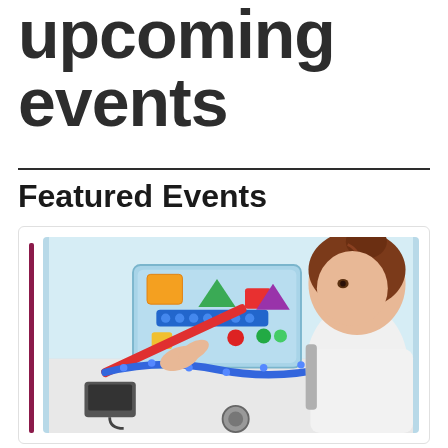upcoming events
Featured Events
[Figure (photo): Young girl with brown hair in a bun, leaning over a table playing with colorful LEGO/building blocks and construction toys]